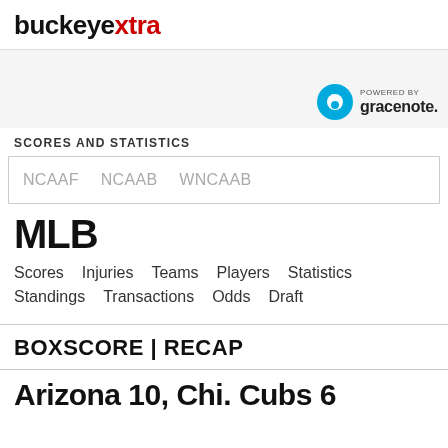buckeyextra
[Figure (logo): Gracenote logo with 'POWERED BY gracenote.' text]
SCORES AND STATISTICS
| NCAAF | NCAAB | WNCAAB |
| --- | --- | --- |
MLB
Scores  Injuries  Teams  Players  Statistics  Standings  Transactions  Odds  Draft
BOXSCORE | RECAP
Arizona 10, Chi. Cubs 6